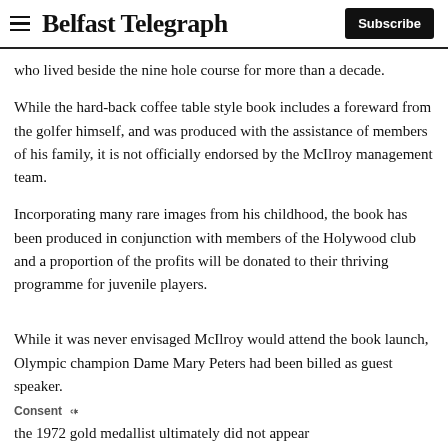Belfast Telegraph | Subscribe
who lived beside the nine hole course for more than a decade.
While the hard-back coffee table style book includes a foreward from the golfer himself, and was produced with the assistance of members of his family, it is not officially endorsed by the McIlroy management team.
Incorporating many rare images from his childhood, the book has been produced in conjunction with members of the Holywood club and a proportion of the profits will be donated to their thriving programme for juvenile players.
While it was never envisaged McIlroy would attend the book launch, Olympic champion Dame Mary Peters had been billed as guest speaker.
Consent
the 1972 gold medallist ultimately did not appear